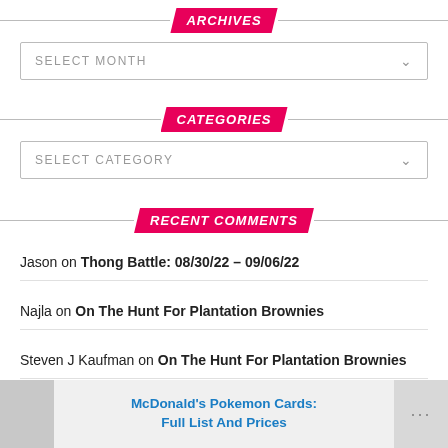ARCHIVES
SELECT MONTH
CATEGORIES
SELECT CATEGORY
RECENT COMMENTS
Jason on Thong Battle: 08/30/22 – 09/06/22
Najla on On The Hunt For Plantation Brownies
Steven J Kaufman on On The Hunt For Plantation Brownies
Steven
McDonald's Pokemon Cards: Full List And Prices